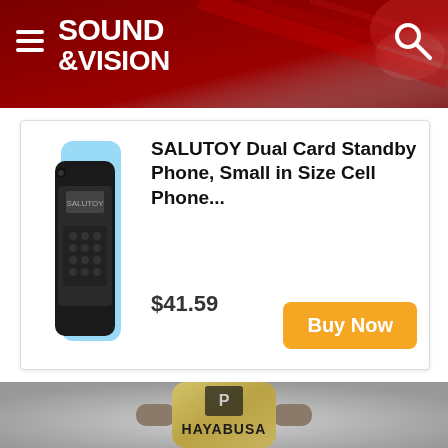SOUND & VISION
[Figure (screenshot): Advertisement for SALUTOY Dual Card Standby Phone, Small in Size Cell Phone. Price $41.59. Buy Now button in orange.]
[Figure (photo): Close-up photo of a Hayabusa branded guitar pick or small device, gold colored with embossed logo and Japanese kanji character, mounted on a grey bracket.]